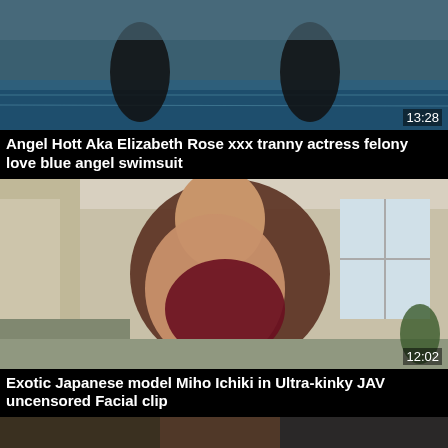[Figure (photo): Video thumbnail showing two figures near a pool, duration 13:28]
Angel Hott Aka Elizabeth Rose xxx tranny actress felony love blue angel swimsuit
[Figure (photo): Video thumbnail of exotic Japanese model Miho Ichiki, duration 12:02]
Exotic Japanese model Miho Ichiki in Ultra-kinky JAV uncensored Facial clip
[Figure (photo): Partial video thumbnail at bottom of page]